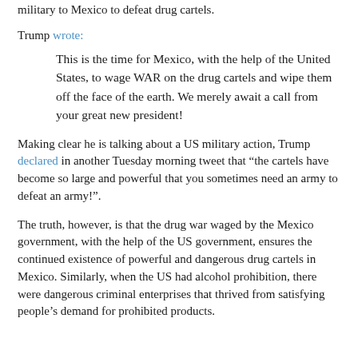military to Mexico to defeat drug cartels.
Trump wrote:
This is the time for Mexico, with the help of the United States, to wage WAR on the drug cartels and wipe them off the face of the earth. We merely await a call from your great new president!
Making clear he is talking about a US military action, Trump declared in another Tuesday morning tweet that “the cartels have become so large and powerful that you sometimes need an army to defeat an army!”.
The truth, however, is that the drug war waged by the Mexico government, with the help of the US government, ensures the continued existence of powerful and dangerous drug cartels in Mexico. Similarly, when the US had alcohol prohibition, there were dangerous criminal enterprises that thrived from satisfying people’s demand for prohibited products.